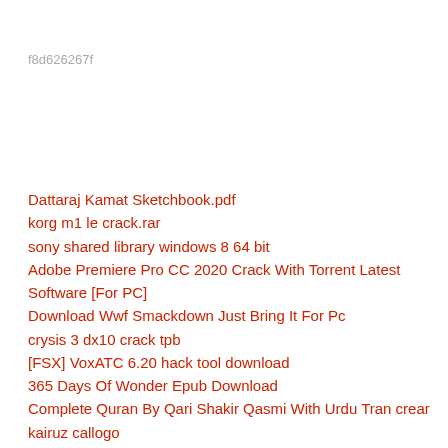f8d626267f
Dattaraj Kamat Sketchbook.pdf
korg m1 le crack.rar
sony shared library windows 8 64 bit
Adobe Premiere Pro CC 2020 Crack With Torrent Latest Software [For PC]
Download Wwf Smackdown Just Bring It For Pc
crysis 3 dx10 crack tpb
[FSX] VoxATC 6.20 hack tool download
365 Days Of Wonder Epub Download
Complete Quran By Qari Shakir Qasmi With Urdu Tran crear kairuz callogo